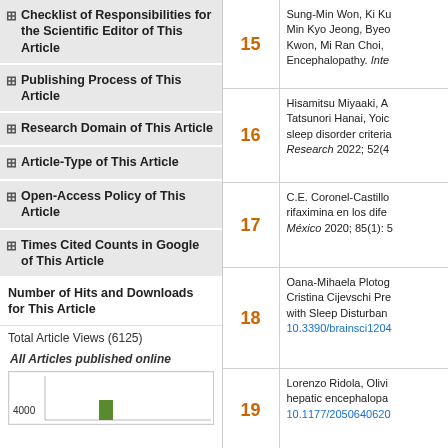Checklist of Responsibilities for the Scientific Editor of This Article
Publishing Process of This Article
Research Domain of This Article
Article-Type of This Article
Open-Access Policy of This Article
Times Cited Counts in Google of This Article
Number of Hits and Downloads for This Article
Total Article Views (6125)
All Articles published online
[Figure (bar-chart): Bar chart showing article views, with a green bar near value 4000]
Sung-Min Won, Ki Ku... Min Kyo Jeong, Byeo... Kwon, Mi Ran Choi, ... Encephalopathy. Inte...
15
Hisamitsu Miyaaki, A... Tatsunori Hanai, Yoic... sleep disorder criteria... Research 2022; 52(4...
16
C.E. Coronel-Castillo... rifaximina en los dife... México 2020; 85(1): 5...
17
Oana-Mihaela Plotog... Cristina Cijevschi Pre... with Sleep Disturban... 10.3390/brainsci1204...
18
Lorenzo Ridola, Olivi... hepatic encephalopa... 10.1177/2050640620...
19